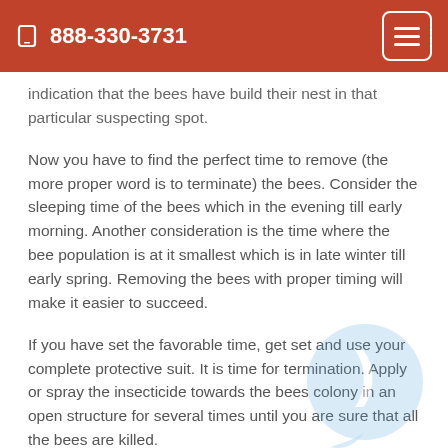📱 888-330-3731
indication that the bees have build their nest in that particular suspecting spot.
Now you have to find the perfect time to remove (the more proper word is to terminate) the bees. Consider the sleeping time of the bees which in the evening till early morning. Another consideration is the time where the bee population is at it smallest which is in late winter till early spring. Removing the bees with proper timing will make it easier to succeed.
If you have set the favorable time, get set and use your complete protective suit. It is time for termination. Apply or spray the insecticide towards the bees colony in an open structure for several times until you are sure that all the bees are killed.